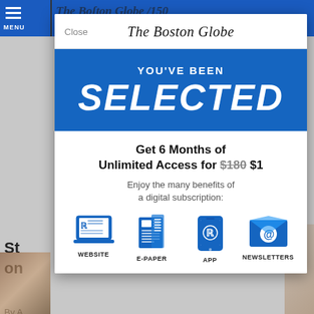[Figure (screenshot): Screenshot of The Boston Globe mobile website with a subscription modal overlay. Background shows the newspaper website with blue header bar, menu icon, and partial article. Modal shows: Close button, The Boston Globe logo in Old English font, blue banner with 'YOU'VE BEEN SELECTED', offer text 'Get 6 Months of Unlimited Access for $180 $1', description 'Enjoy the many benefits of a digital subscription:', and four icons for WEBSITE, E-PAPER, APP, NEWSLETTERS.]